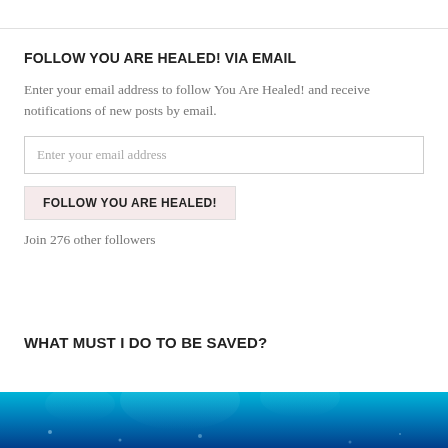FOLLOW YOU ARE HEALED! VIA EMAIL
Enter your email address to follow You Are Healed! and receive notifications of new posts by email.
Enter your email address
FOLLOW YOU ARE HEALED!
Join 276 other followers
WHAT MUST I DO TO BE SAVED?
[Figure (photo): Underwater ocean scene with blue water and light rays]